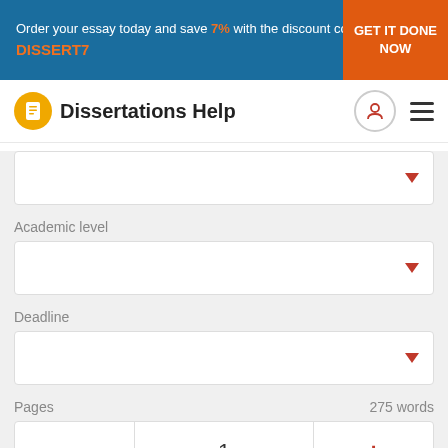Order your essay today and save 7% with the discount code DISSERT7 GET IT DONE NOW
[Figure (logo): Dissertations Help logo with orange circle and document icon]
Dissertations Help
Academic level
Deadline
Pages   275 words
1
Total price: $0.00